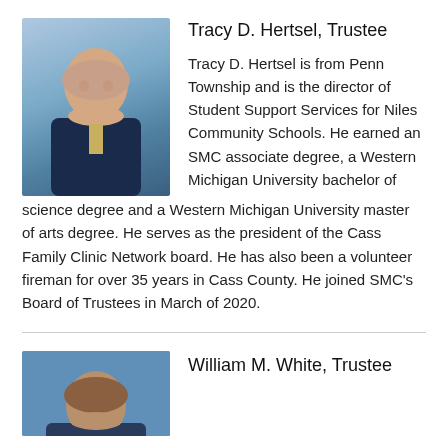[Figure (photo): Headshot of Tracy D. Hertsel, a middle-aged man with white/gray hair and mustache, wearing a dark suit and tie, smiling against a blue background]
Tracy D. Hertsel, Trustee
Tracy D. Hertsel is from Penn Township and is the director of Student Support Services for Niles Community Schools. He earned an SMC associate degree, a Western Michigan University bachelor of science degree and a Western Michigan University master of arts degree. He serves as the president of the Cass Family Clinic Network board. He has also been a volunteer fireman for over 35 years in Cass County. He joined SMC's Board of Trustees in March of 2020.
[Figure (photo): Partial headshot of William M. White, a man with dark hair, against a blue background]
William M. White, Trustee